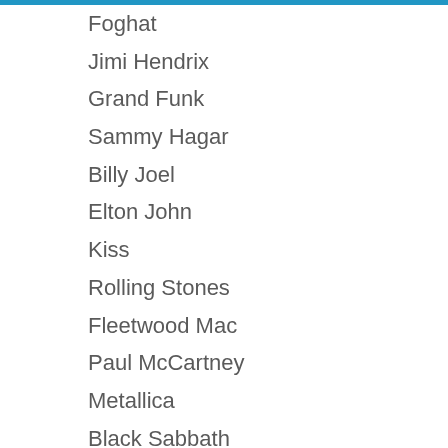Foghat
Jimi Hendrix
Grand Funk
Sammy Hagar
Billy Joel
Elton John
Kiss
Rolling Stones
Fleetwood Mac
Paul McCartney
Metallica
Black Sabbath
Bruce Springsteen
Queen
Rush
Stevie Nicks
Tom Waits